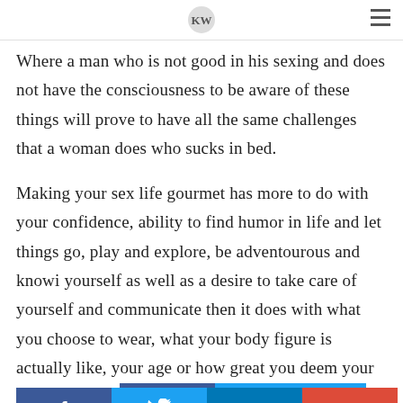[logo] [hamburger menu]
Where a man who is not good in his sexing and does not have the consciousness to be aware of these things will prove to have all the same challenges that a woman does who sucks in bed.
Making your sex life gourmet has more to do with your confidence, ability to find humor in life and let things go, play and explore, be adventourous and knowi yourself as well as a desire to take care of yourself and communicate then it does with what you choose to wear, what your body figure is actually like, your age or how great you deem your physical skills
[Figure (other): Social sharing buttons row: Facebook (f), Twitter (bird), LinkedIn (in), Google+ (G+)]
A great lover knows that CONNECTION is primary